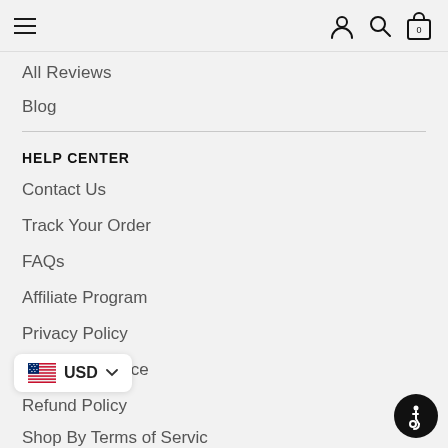Navigation header with hamburger menu, user icon, search icon, and bag icon with 0 count
All Reviews
Blog
HELP CENTER
Contact Us
Track Your Order
FAQs
Affiliate Program
Privacy Policy
Terms of Service
Refund Policy
USD (currency selector)
[Figure (illustration): Accessibility icon button (wheelchair symbol) in black circle, bottom right corner]